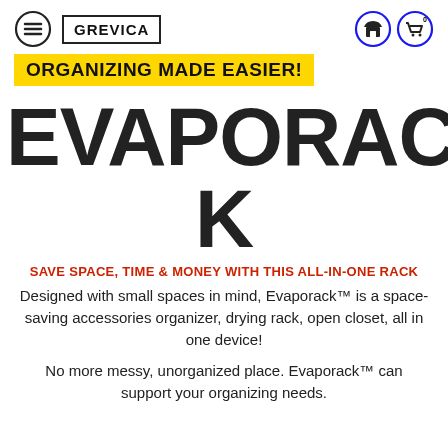GREVICA
ORGANIZING MADE EASIER!
EVAPORACK
SAVE SPACE, TIME & MONEY WITH THIS ALL-IN-ONE RACK
Designed with small spaces in mind, Evaporack™ is a space-saving accessories organizer, drying rack, open closet, all in one device!
No more messy, unorganized place. Evaporack™ can support your organizing needs.